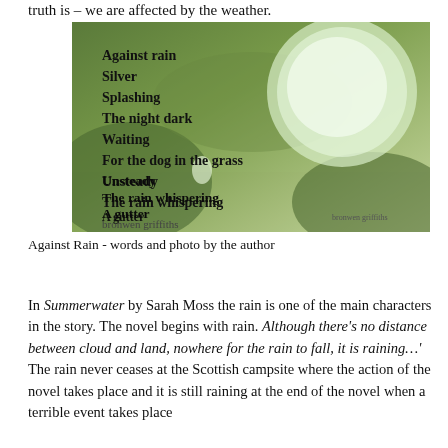truth is – we are affected by the weather.
[Figure (photo): Close-up macro photo of water droplets on green plant leaves, with a poem overlaid in bold black serif text reading: Against rain / Silver / Splashing / The night dark / Waiting / For the dog in the grass / Unsteady / The rain whispering / A gutter / Singing somewhere. Small text at bottom reads 'bronwen griffiths'.]
Against Rain - words and photo by the author
In Summerwater by Sarah Moss the rain is one of the main characters in the story. The novel begins with rain. Although there's no distance between cloud and land, nowhere for the rain to fall, it is raining…' The rain never ceases at the Scottish campsite where the action of the novel takes place and it is still raining at the end of the novel when a terrible event takes place